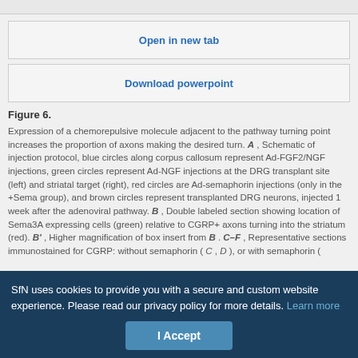[Figure (screenshot): Top gray bar UI element]
Open in new tab
Download powerpoint
Figure 6. Expression of a chemorepulsive molecule adjacent to the pathway turning point increases the proportion of axons making the desired turn. A , Schematic of injection protocol, blue circles along corpus callosum represent Ad-FGF2/NGF injections, green circles represent Ad-NGF injections at the DRG transplant site (left) and striatal target (right), red circles are Ad-semaphorin injections (only in the +Sema group), and brown circles represent transplanted DRG neurons, injected 1 week after the adenoviral pathway. B , Double labeled section showing location of Sema3A expressing cells (green) relative to CGRP+ axons turning into the striatum (red). B' , Higher magnification of box insert from B . C–F , Representative sections immunostained for CGRP: without semaphorin ( C , D ), or with semaphorin (
SfN uses cookies to provide you with a secure and custom website experience. Please read our privacy policy for more details. Learn more
I Accept